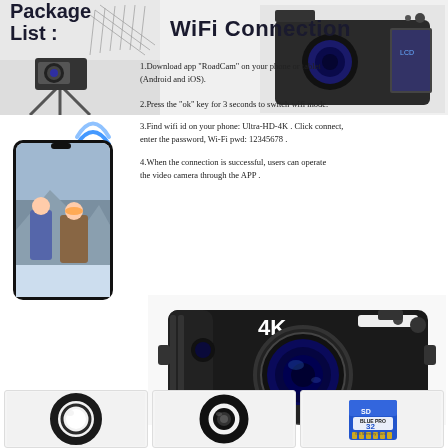[Figure (photo): Top section showing a camera on a tripod in snow scene (left) and a digital camera with flip screen (right)]
[Figure (photo): Smartphone showing ski photography photo, with WiFi signal icon above it]
WiFi Connection
1.Download app "RoadCam" on your phone or tablet (Android and iOS).
2.Press the "ok" key for 3 seconds to switch wifi mode.
3.Find wifi id on your phone: Ultra-HD-4K . Click connect, enter the password, Wi-Fi pwd: 12345678 .
4.When the connection is successful, users can operate the video camera through the APP .
Package List :
Digital Camera × 1
[Figure (photo): 4K digital camera, black, with large lens]
[Figure (photo): Three product accessory boxes: lens cap, wide angle lens, and 32GB SD memory card]